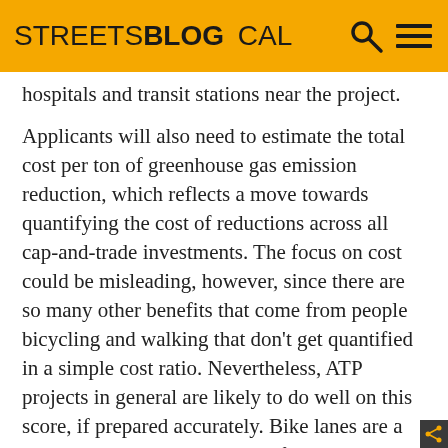STREETSBLOG CAL
hospitals and transit stations near the project.
Applicants will also need to estimate the total cost per ton of greenhouse gas emission reduction, which reflects a move towards quantifying the cost of reductions across all cap-and-trade investments. The focus on cost could be misleading, however, since there are so many other benefits that come from people bicycling and walking that don't get quantified in a simple cost ratio. Nevertheless, ATP projects in general are likely to do well on this score, if prepared accurately. Bike lanes are a lot less expensive than most infrastructure projects, for example.
Having to use the money quickly is also not likely to be a big issue. The current round of funding won't be